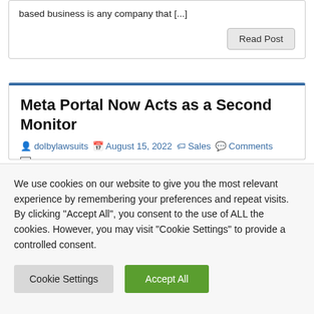based business is any company that [...]
Read Post
Meta Portal Now Acts as a Second Monitor
dolbylawsuits  August 15, 2022  Sales  Comments
Meta have announced they are introducing support for the Duet Display app, which can turn the video calling devices Meta Portal Plus (Gen 2) and Meta Portal Go into a second monitor for a computer screen. Meta Portal Now Acts as a Second Monitor The parent company of Facebook and Instagram is also
We use cookies on our website to give you the most relevant experience by remembering your preferences and repeat visits. By clicking "Accept All", you consent to the use of ALL the cookies. However, you may visit "Cookie Settings" to provide a controlled consent.
Cookie Settings
Accept All